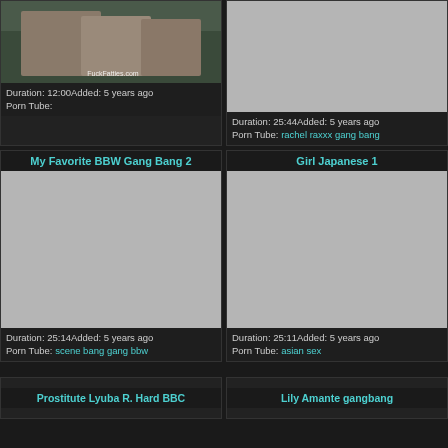[Figure (photo): Video thumbnail with photo of women, watermark FuckFatties.com]
Duration: 12:00Added: 5 years ago
Porn Tube:
[Figure (photo): Gray placeholder thumbnail for video]
Duration: 25:44Added: 5 years ago
Porn Tube: rachel raxxx gang bang
My Favorite BBW Gang Bang 2
[Figure (photo): Gray placeholder thumbnail for video]
Duration: 25:14Added: 5 years ago
Porn Tube: scene bang gang bbw
Girl Japanese 1
[Figure (photo): Gray placeholder thumbnail for video]
Duration: 25:11Added: 5 years ago
Porn Tube: asian sex
Prostitute Lyuba R. Hard BBC
Lily Amante gangbang